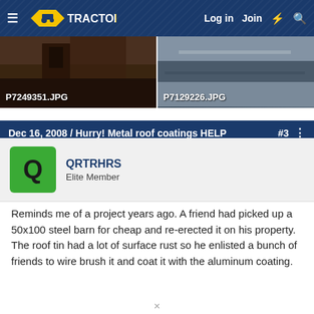TractorByNet — Log in  Join
[Figure (photo): Two thumbnail photos side by side: left shows a dark brown barn/building exterior (P7249351.JPG), right shows a snowy or icy metal roof surface (P7129226.JPG)]
Dec 16, 2008 / Hurry! Metal roof coatings HELP  #3
QRTRHRS
Elite Member
Reminds me of a project years ago. A friend had picked up a 50x100 steel barn for cheap and re-erected it on his property. The roof tin had a lot of surface rust so he enlisted a bunch of friends to wire brush it and coat it with the aluminum coating.